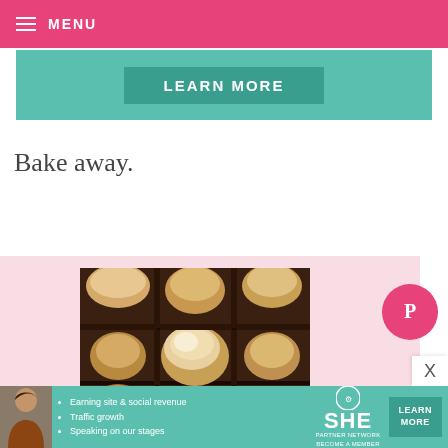MENU
[Figure (other): Teal/green Learn More button banner at top of page]
Bake away.
[Figure (photo): Close-up photo of s'mores brownies with toasted marshmallows on top, arranged in a grid pattern on a pink background]
[Figure (logo): Pink Pinterest circular button icon]
[Figure (infographic): SHE Partner Network advertisement banner with bullets: Earning site & social revenue, Traffic growth, Speaking on our stages. BECOME A MEMBER. LEARN MORE button.]